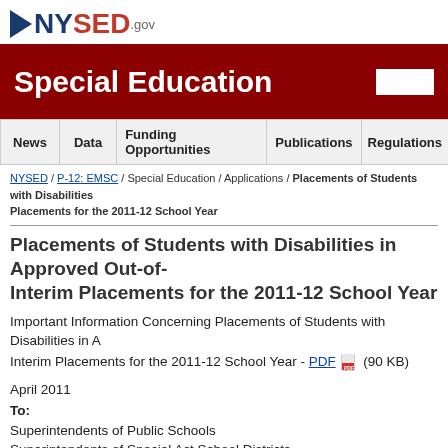[Figure (logo): NYSED.gov logo with NY state silhouette arrow, blue NY, red SED, gray .gov]
Special Education
News | Data | Funding Opportunities | Publications | Regulations
NYSED / P-12: EMSC / Special Education / Applications / Placements of Students with Disabilities Placements for the 2011-12 School Year
Placements of Students with Disabilities in Approved Out-of- Interim Placements for the 2011-12 School Year
Important Information Concerning Placements of Students with Disabilities in A Interim Placements for the 2011-12 School Year - PDF (90 KB)
April 2011
To:
Superintendents of Public Schools
Superintendents of Special Act School Districts
Chairpersons, Committees on Special Education
Approved Private Schools for Students with Disabilities